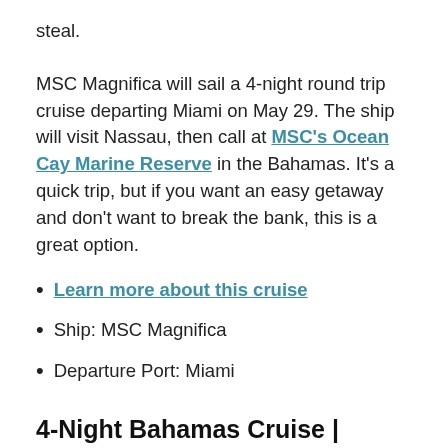steal.
MSC Magnifica will sail a 4-night round trip cruise departing Miami on May 29. The ship will visit Nassau, then call at MSC’s Ocean Cay Marine Reserve in the Bahamas. It’s a quick trip, but if you want an easy getaway and don’t want to break the bank, this is a great option.
Learn more about this cruise
Ship: MSC Magnifica
Departure Port: Miami
4-Night Bahamas Cruise | March 26, 2023 | $179